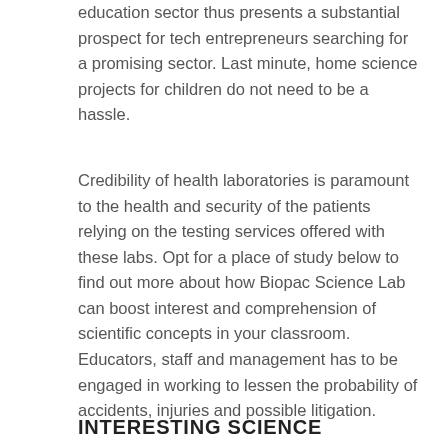education sector thus presents a substantial prospect for tech entrepreneurs searching for a promising sector. Last minute, home science projects for children do not need to be a hassle.
Credibility of health laboratories is paramount to the health and security of the patients relying on the testing services offered with these labs. Opt for a place of study below to find out more about how Biopac Science Lab can boost interest and comprehension of scientific concepts in your classroom. Educators, staff and management has to be engaged in working to lessen the probability of accidents, injuries and possible litigation.
INTERESTING SCIENCE